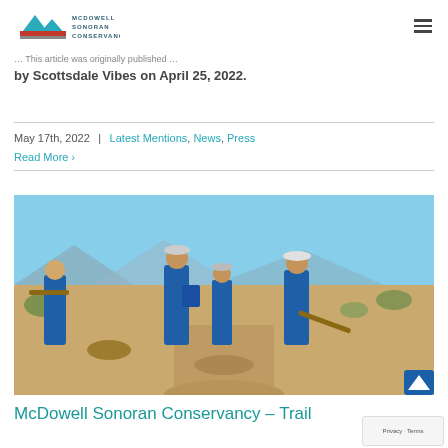McDowell Sonoran Conservancy
by Scottsdale Vibes on April 25, 2022.
May 17th, 2022 | Latest Mentions, News, Press
Read More >
[Figure (photo): Volunteers in blue uniforms doing trail maintenance work in desert landscape, shoveling dirt on a rocky trail with mountains visible in background]
McDowell Sonoran Conservancy – Trail